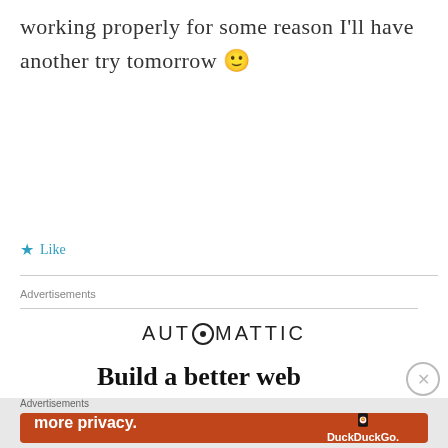working properly for some reason I'll have another try tomorrow 🙂
★ Like
Advertisements
[Figure (logo): Automattic logo in bold capital letters with a circular O containing a smaller circle inside]
Build a better web
Advertisements
[Figure (illustration): DuckDuckGo advertisement banner on orange background: Search, browse, and email with more privacy. All in One Free App. Shows a phone with DuckDuckGo logo.]